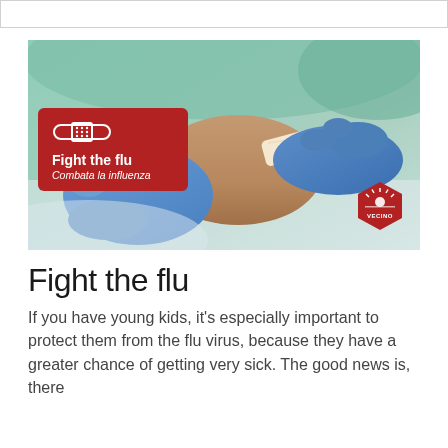[Figure (photo): Photo of gloved hands applying a bandage to a person's arm after a vaccination, with a red badge overlay reading 'Fight the flu / Combata la influenza' and a Vecino logo in the bottom right corner.]
Fight the flu
If you have young kids, it's especially important to protect them from the flu virus, because they have a greater chance of getting very sick. The good news is, there